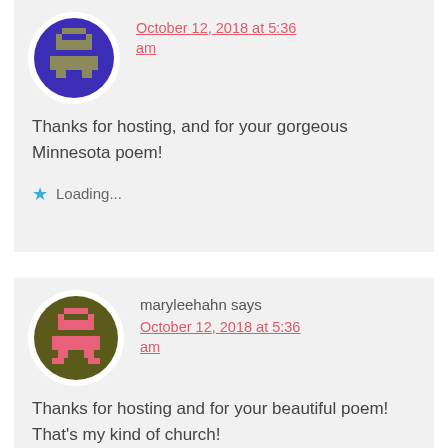[Figure (illustration): Pixel art avatar — purple/dark blue background with grey/tan pixel character, circular white border]
October 12, 2018 at 5:36 am
Thanks for hosting, and for your gorgeous Minnesota poem!
Loading...
[Figure (illustration): Pixel art avatar — olive/dark yellow background with pink pixel character, circular white border]
maryleehahn says
October 12, 2018 at 5:36 am
Thanks for hosting and for your beautiful poem! That's my kind of church!